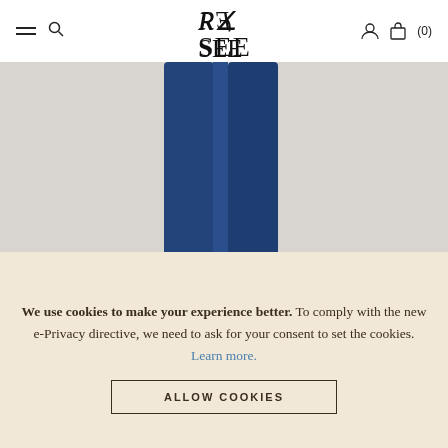RE SEE (logo) — navigation bar with hamburger menu, search, user icon, bag (0)
[Figure (photo): Lower body of a person wearing dark navy blue skinny jeans and black strappy high-heel sandals, standing against a light grey background]
We use cookies to make your experience better. To comply with the new e-Privacy directive, we need to ask for your consent to set the cookies. Learn more.
ALLOW COOKIES